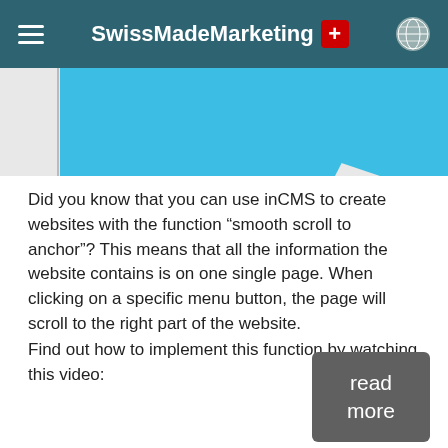SwissMadeMarketing
[Figure (illustration): Blue angular banner shape on grey background with a vertical left border line]
Did you know that you can use inCMS to create websites with the function “smooth scroll to anchor”? This means that all the information the website contains is on one single page. When clicking on a specific menu button, the page will scroll to the right part of the website.
Find out how to implement this function by watching this video:
read more
Feature Highlight - Member